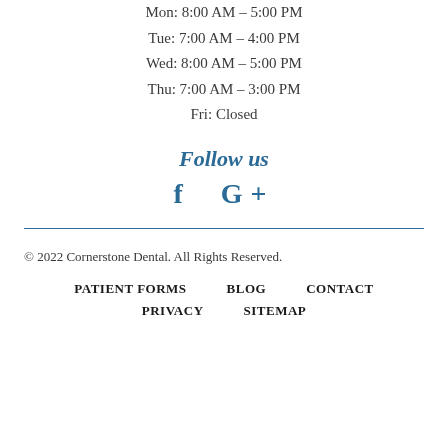Mon: 8:00 AM – 5:00 PM
Tue: 7:00 AM – 4:00 PM
Wed: 8:00 AM – 5:00 PM
Thu: 7:00 AM – 3:00 PM
Fri: Closed
Follow us
[Figure (other): Social media icons: Facebook (f) and Google+ (G+)]
© 2022 Cornerstone Dental. All Rights Reserved.
PATIENT FORMS   BLOG   CONTACT   PRIVACY   SITEMAP